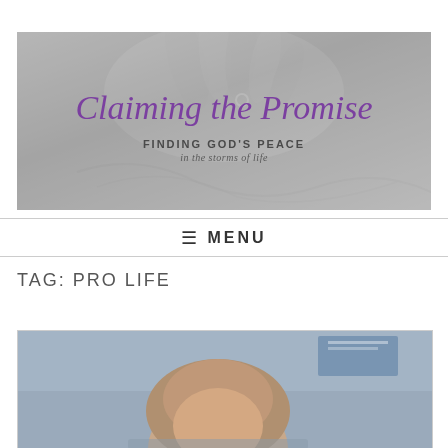[Figure (illustration): Blog banner header image with grayscale hands background. Shows cursive purple text 'Claiming the Promise' and subtitle 'FINDING GOD'S PEACE in the storms of life']
☰ MENU
TAG: PRO LIFE
[Figure (photo): Partial photo of a person (head and upper body) against a blue-gray background, cropped at bottom of page]